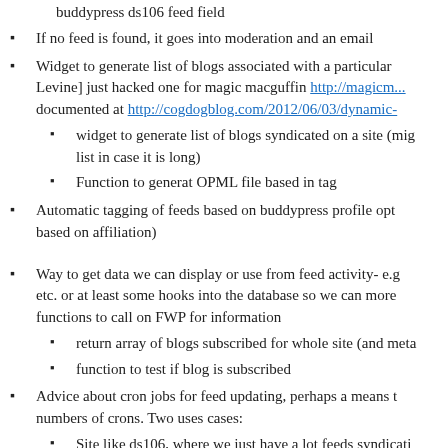buddypress ds106 feed field
If no feed is found, it goes into moderation and an email
Widget to generate list of blogs associated with a particular [Levine] just hacked one for magic macguffin http://magicm... documented at http://cogdogblog.com/2012/06/03/dynamic-
widget to generate list of blogs syndicated on a site (mig... list in case it is long)
Function to generat OPML file based in tag
Automatic tagging of feeds based on buddypress profile opt... based on affiliation)
Way to get data we can display or use from feed activity- e.g... etc. or at least some hooks into the database so we can more... functions to call on FWP for information
return array of blogs subscribed for whole site (and meta...
function to test if blog is subscribed
Advice about cron jobs for feed updating, perhaps a means t... numbers of crons. Two uses cases:
Site like ds106, where we just have a lot feeds syndicati...